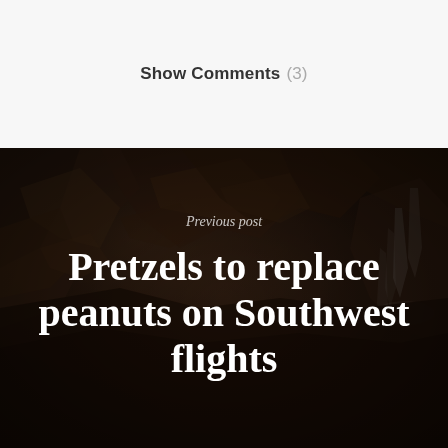Show Comments (3)
[Figure (photo): Dark rocky mountain landscape with waterfall in background, used as hero image background]
Previous post
Pretzels to replace peanuts on Southwest flights